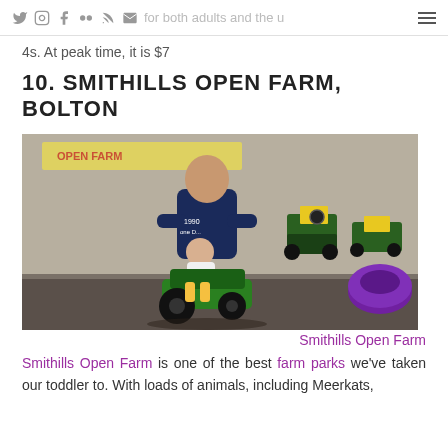for both adults and the u...
4s. At peak time, it is $7
10. SMITHILLS OPEN FARM, BOLTON
[Figure (photo): A man helping a toddler ride a green John Deere toy tractor inside a farm barn. Several other toy tractors are visible in the background, along with a purple tire planter on the right. A yellow 'OPEN FARM' banner is visible in the background.]
Smithills Open Farm
Smithills Open Farm is one of the best farm parks we've taken our toddler to. With loads of animals, including Meerkats,